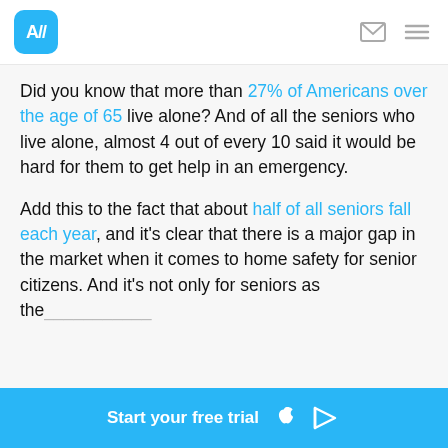A// (logo) | mail icon | menu icon
Did you know that more than 27% of Americans over the age of 65 live alone? And of all the seniors who live alone, almost 4 out of every 10 said it would be hard for them to get help in an emergency.
Add this to the fact that about half of all seniors fall each year, and it's clear that there is a major gap in the market when it comes to home safety for senior citizens. And it's not only for seniors as the...
Start your free trial